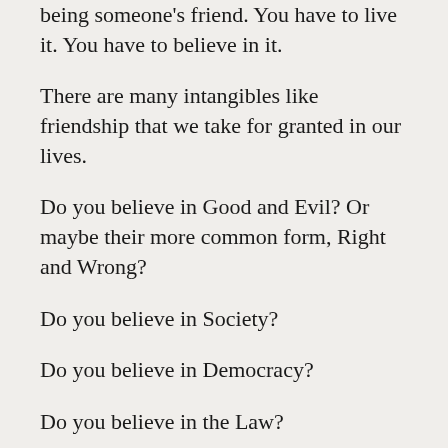being someone's friend. You have to live it. You have to believe in it.
There are many intangibles like friendship that we take for granted in our lives.
Do you believe in Good and Evil? Or maybe their more common form, Right and Wrong?
Do you believe in Society?
Do you believe in Democracy?
Do you believe in the Law?